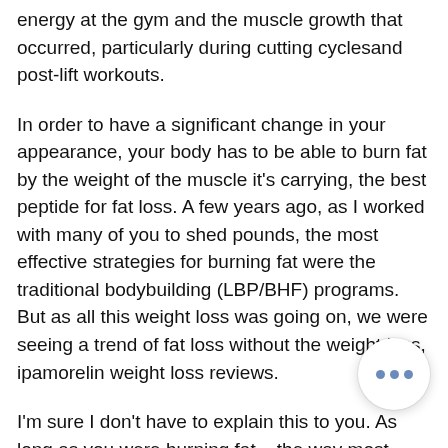energy at the gym and the muscle growth that occurred, particularly during cutting cyclesand post-lift workouts.
In order to have a significant change in your appearance, your body has to be able to burn fat by the weight of the muscle it's carrying, the best peptide for fat loss. A few years ago, as I worked with many of you to shed pounds, the most effective strategies for burning fat were the traditional bodybuilding (LBP/BHF) programs. But as all this weight loss was going on, we were seeing a trend of fat loss without the weight loss, ipamorelin weight loss reviews.
I'm sure I don't have to explain this to you. As long as you were burning fat – the way most people thought a bodybuilder wou' you might as well continue with your w and look good. You'd still have enough to